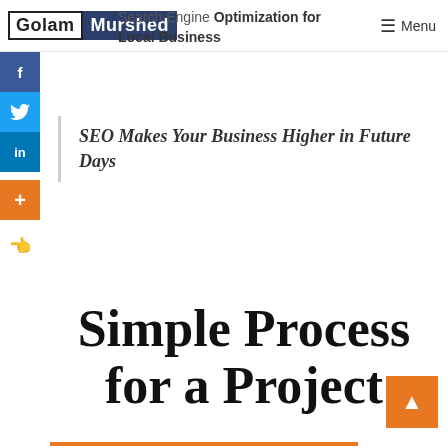Golam Murshed — Search Engine Optimization for Local Business — Menu
SEO Makes Your Business Higher in Future Days
Simple Process for a Project